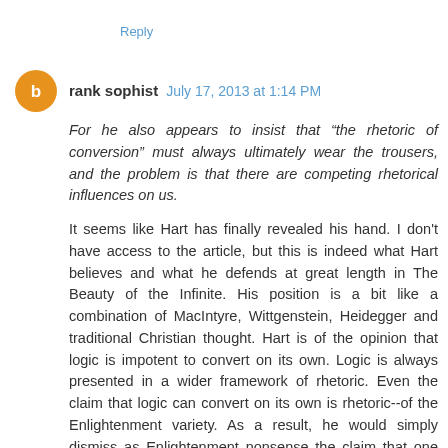Reply
rank sophist  July 17, 2013 at 1:14 PM
For he also appears to insist that “the rhetoric of conversion” must always ultimately wear the trousers, and the problem is that there are competing rhetorical influences on us.
It seems like Hart has finally revealed his hand. I don't have access to the article, but this is indeed what Hart believes and what he defends at great length in The Beauty of the Infinite. His position is a bit like a combination of MacIntyre, Wittgenstein, Heidegger and traditional Christian thought. Hart is of the opinion that logic is impotent to convert on its own. Logic is always presented in a wider framework of rhetoric. Even the claim that logic can convert on its own is rhetoric--of the Enlightenment variety. As a result, he would simply dismiss as Enlightenment nonsense the claim that one could become convinced by pure logic.
Further,